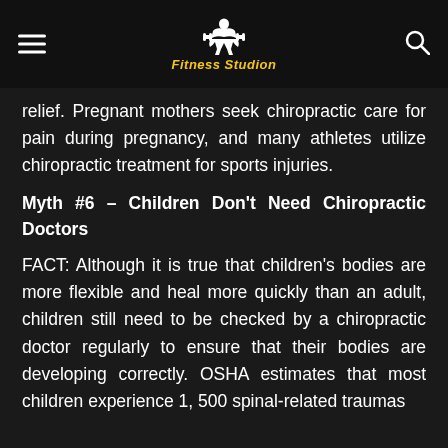Fitness Studion
relief. Pregnant mothers seek chiropractic care for pain during pregnancy, and many athletes utilize chiropractic treatment for sports injuries.
Myth #6 – Children Don't Need Chiropractic Doctors
FACT: Although it is true that children's bodies are more flexible and heal more quickly than an adult, children still need to be checked by a chiropractic doctor regularly to ensure that their bodies are developing correctly. OSHA estimates that most children experience 1, 500 spinal-related traumas